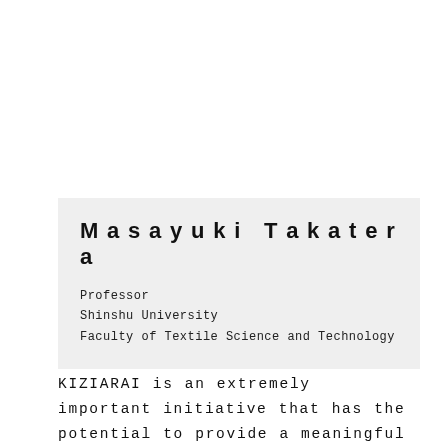Masayuki Takatera
Professor
Shinshu University
Faculty of Textile Science and Technology
KIZIARAI is an extremely important initiative that has the potential to provide a meaningful environment in the form of a hub of information about Japanese